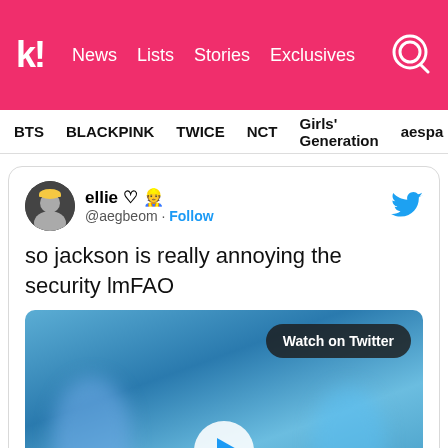Koreaboo — News | Lists | Stories | Exclusives
BTS  BLACKPINK  TWICE  NCT  Girls' Generation  aespa
ellie ♡ 👷 @aegbeom · Follow
so jackson is really annoying the security lmFAO
[Figure (screenshot): Embedded Twitter video thumbnail showing blurred figures on a concert stage with a 'Watch on Twitter' button and play button overlay]